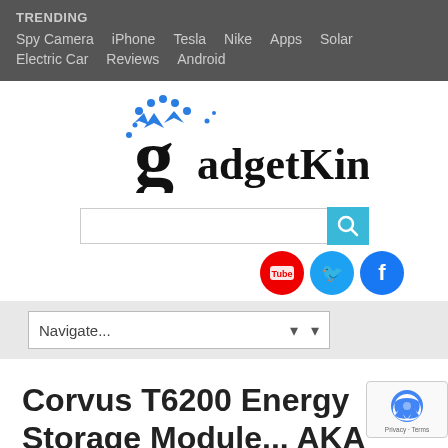TRENDING
Spy Camera  iPhone  Tesla  Nike  Apps  Solar
Electric Car  Reviews  Android
[Figure (logo): gadgetKing.com logo with blue crown/star decoration above the letter g]
[Figure (screenshot): Search input box with teal search button icon]
[Figure (infographic): Social media icons: YouTube (red), Twitter (blue), Facebook (blue) circular buttons]
[Figure (screenshot): Navigation dropdown menu showing 'Navigate...' with down arrow]
Corvus T6200 Energy Storage Module... AKA Kick Ass Battery